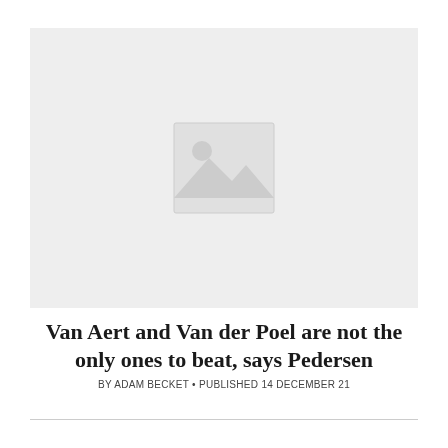[Figure (photo): Image placeholder with a landscape/mountain icon on a light grey background]
Van Aert and Van der Poel are not the only ones to beat, says Pedersen
BY ADAM BECKET • PUBLISHED 14 DECEMBER 21